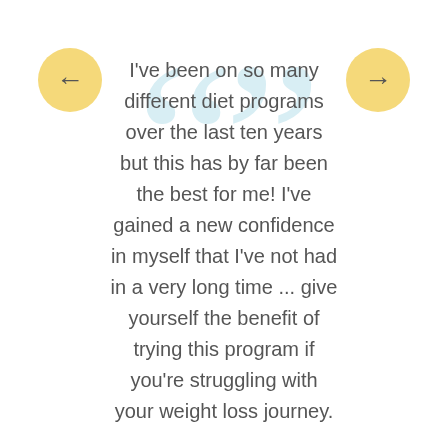[Figure (illustration): Decorative large quotation mark symbols in light blue as background watermark]
I've been on so many different diet programs over the last ten years but this has by far been the best for me! I've gained a new confidence in myself that I've not had in a very long time ... give yourself the benefit of trying this program if you're struggling with your weight loss journey.